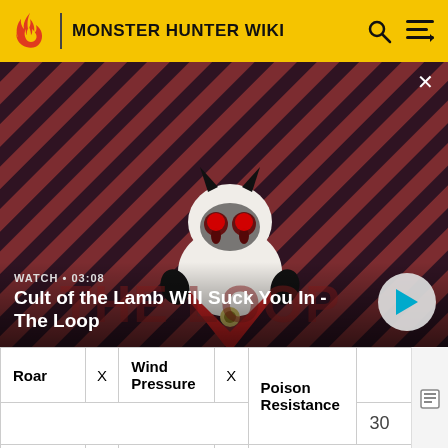MONSTER HUNTER WIKI
[Figure (screenshot): Video thumbnail showing Cult of the Lamb character on a red diagonal striped background with watch label and title overlay]
WATCH • 03:08
Cult of the Lamb Will Suck You In - The Loop
| Roar | X | Wind Pressure | X | Resis |  |
| --- | --- | --- | --- | --- | --- |
| Roar | X | Wind Pressure | X | Poison Resistance | 30 |
| Shock Trap | X | Pitfall Trap | X |  |  |